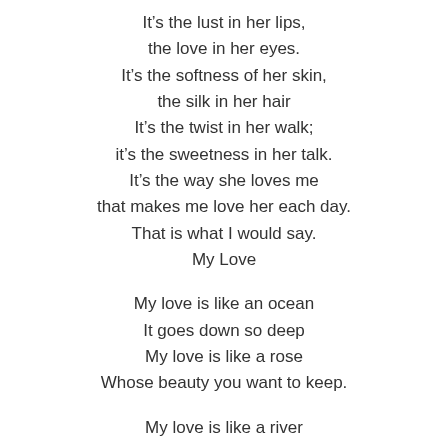It's the lust in her lips,
the love in her eyes.
It's the softness of her skin,
the silk in her hair
It's the twist in her walk;
it's the sweetness in her talk.
It's the way she loves me
that makes me love her each day.
That is what I would say.
My Love
My love is like an ocean
It goes down so deep
My love is like a rose
Whose beauty you want to keep.
My love is like a river